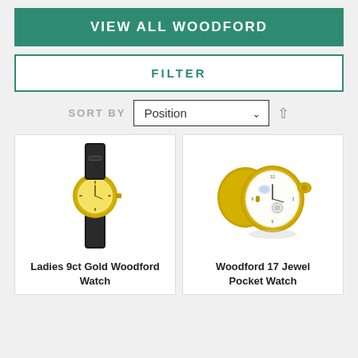VIEW ALL WOODFORD
FILTER
SORT BY Position
[Figure (photo): Ladies 9ct Gold Woodford Watch — a slim dress watch with gold case and black leather strap]
Ladies 9ct Gold Woodford Watch
[Figure (photo): Woodford 17 Jewel Pocket Watch — open gold-tone pocket watch showing the dial with moon phase and skeleton tourbillon]
Woodford 17 Jewel Pocket Watch